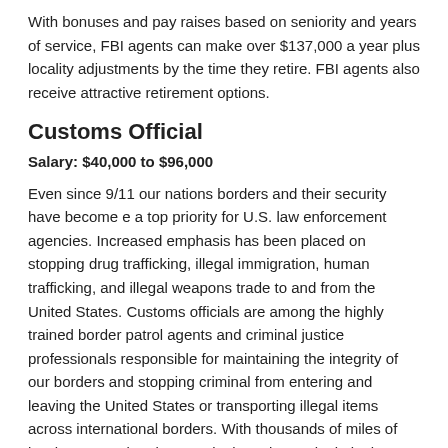With bonuses and pay raises based on seniority and years of service, FBI agents can make over $137,000 a year plus locality adjustments by the time they retire. FBI agents also receive attractive retirement options.
Customs Official
Salary: $40,000 to $96,000
Even since 9/11 our nations borders and their security have become e a top priority for U.S. law enforcement agencies. Increased emphasis has been placed on stopping drug trafficking, illegal immigration, human trafficking, and illegal weapons trade to and from the United States. Customs officials are among the highly trained border patrol agents and criminal justice professionals responsible for maintaining the integrity of our borders and stopping criminal from entering and leaving the United States or transporting illegal items across international borders. With thousands of miles of border to patrol and a seemingly undaunted criminal element, there is always demand for more qualified customs offices here at home.
Corrections Management
Average Salary: $37,000